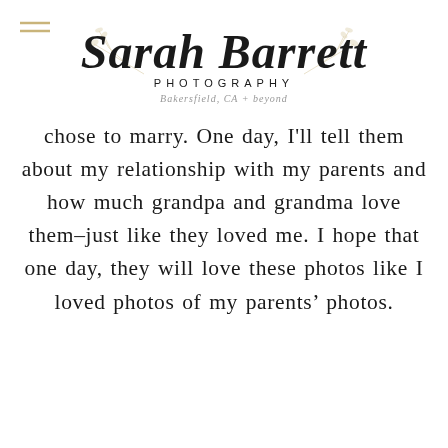[Figure (logo): Sarah Barrett Photography logo with script font, floral botanical decoration, PHOTOGRAPHY in capitals, and tagline 'Bakersfield, CA + beyond']
chose to marry. One day, I'll tell them about my relationship with my parents and how much grandpa and grandma love them–just like they loved me. I hope that one day, they will love these photos like I loved photos of my parents' photos.